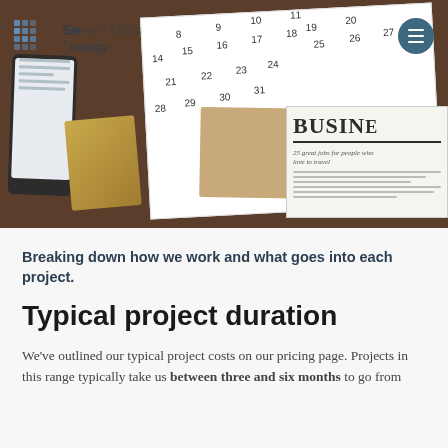[Figure (photo): Hero banner photo showing a wooden desk with a calendar, newspaper with 'BUSINESS' headline, brown envelope/book, smartphone, gold binder clip, and other office items. Seven Hills Technology logo and navigation in top left and right corners.]
Breaking down how we work and what goes into each project.
Typical project duration
We've outlined our typical project costs on our pricing page. Projects in this range typically take us between three and six months to go from